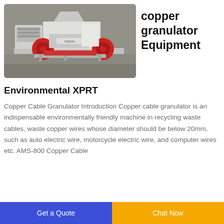[Figure (photo): Photo of a copper cable granulator machine in an industrial warehouse setting. The machine is large, white and red in color, mounted on a metal frame platform.]
copper granulator Equipment
Environmental XPRT
Copper Cable Granulator Introduction Copper cable granulator is an indispensable environmentally friendly machine in recycling waste cables, waste copper wires whose diameter should be below 20mm, such as auto electric wire, motorcycle electric wire, and computer wires etc. AMS-800 Copper Cable
Get a Quote | Chat Now